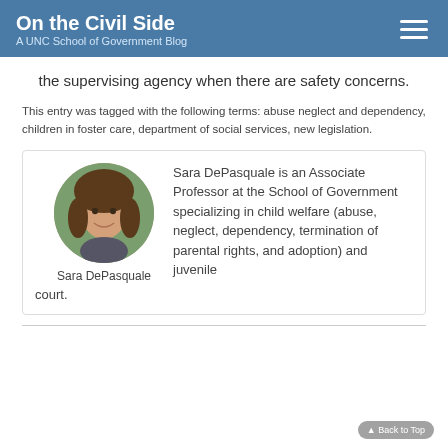On the Civil Side — A UNC School of Government Blog
the supervising agency when there are safety concerns.
This entry was tagged with the following terms: abuse neglect and dependency, children in foster care, department of social services, new legislation.
[Figure (photo): Circular headshot of Sara DePasquale, a woman with brown hair, smiling, with a nature background. Below the photo is the caption 'Sara DePasquale'.]
Sara DePasquale is an Associate Professor at the School of Government specializing in child welfare (abuse, neglect, dependency, termination of parental rights, and adoption) and juvenile court.